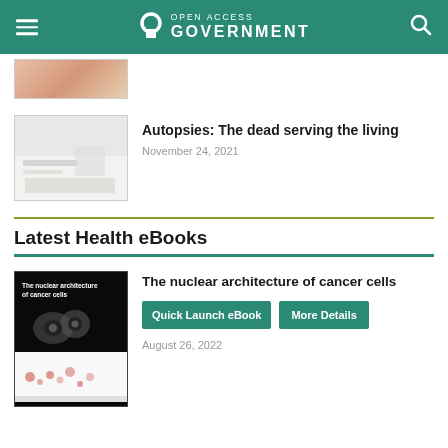Open Access Government
[Figure (photo): Partial thumbnail of an article image at the top of the page]
[Figure (photo): Autopsy room with white tables and clinical setting]
Autopsies: The dead serving the living
November 24, 2021
Latest Health eBooks
[Figure (photo): The nuclear architecture of cancer cells eBook cover showing microscopy images of cancer cells]
The nuclear architecture of cancer cells
Quick Launch eBook   More Details
August 26, 2022